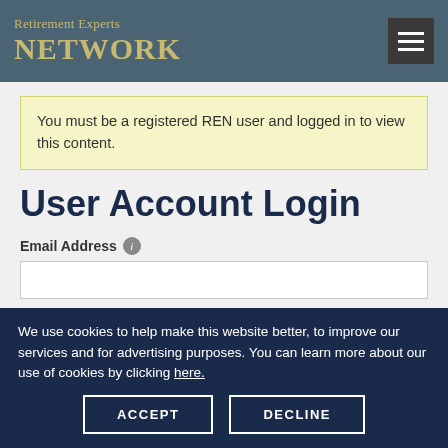Retirement Experts NETWORK
You must be a registered REN user and logged in to view this content.
User Account Login
Email Address
Password
We use cookies to help make this website better, to improve our services and for advertising purposes. You can learn more about our use of cookies by clicking here.
ACCEPT
DECLINE